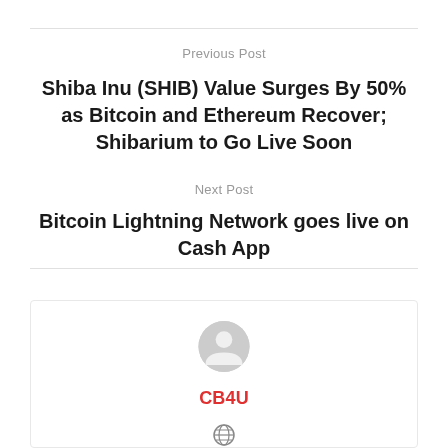Previous Post
Shiba Inu (SHIB) Value Surges By 50% as Bitcoin and Ethereum Recover; Shibarium to Go Live Soon
Next Post
Bitcoin Lightning Network goes live on Cash App
[Figure (illustration): Author avatar placeholder — generic grey user silhouette circle]
CB4U
[Figure (illustration): Globe/website icon]